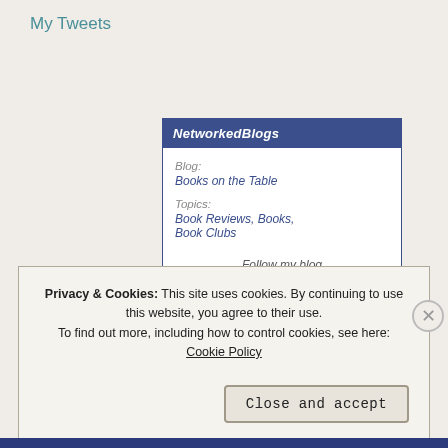My Tweets
[Figure (screenshot): NetworkedBlogs widget showing blog 'Books on the Table' with topics 'Book Reviews, Books, Book Clubs' and a 'Follow my blog' link]
Privacy & Cookies: This site uses cookies. By continuing to use this website, you agree to their use.
To find out more, including how to control cookies, see here: Cookie Policy
Close and accept